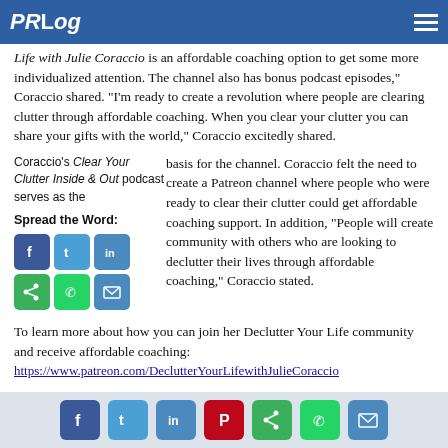PRLog
Life with Julie Coraccio is an affordable coaching option to get some more individualized attention. The channel also has bonus podcast episodes," Coraccio shared. "I'm ready to create a revolution where people are clearing clutter through affordable coaching. When you clear your clutter you can share your gifts with the world," Coraccio excitedly shared.
Coraccio's Clear Your Clutter Inside & Out podcast serves as the basis for the channel. Coraccio felt the need to create a Patreon channel where people who were ready to clear their clutter could get affordable coaching support. In addition, "People will create community with others who are looking to declutter their lives through affordable coaching," Coraccio stated.
To learn more about how you can join her Declutter Your Life community and receive affordable coaching:
https://www.patreon.com/DeclutterYourLifewithJulieCoraccio
Coraccio shared, "Clutter is stuck, stagnant energy and prevents
Social share icons: Facebook, Twitter, LinkedIn, Pinterest, Share, WhatsApp, Email